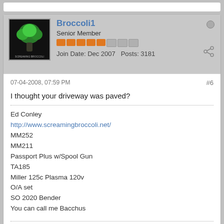[Figure (screenshot): Top partial white card edge visible at top of page]
Broccoli1
Senior Member
Join Date: Dec 2007   Posts: 3181
07-04-2008, 07:59 PM
#6
I thought your driveway was paved?
Ed Conley
http://www.screamingbroccoli.net/
MM252
MM211
Passport Plus w/Spool Gun
TA185
Miller 125c Plasma 120v
O/A set
SO 2020 Bender
You can call me Bacchus
84ZMike
Senior Member